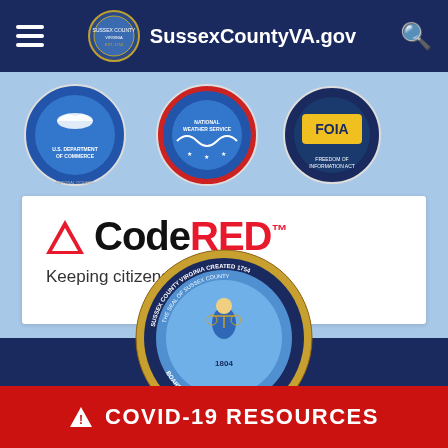SussexCountyVA.gov
[Figure (logo): NOAA / U.S. Department of Commerce circular seal logo (partial)]
[Figure (logo): National Weather Service circular logo (partial)]
[Figure (logo): FOIA Freedom of Information Act circular logo (partial)]
[Figure (logo): CodeRED logo with triangle and tagline 'Keeping citizens informed.']
[Figure (logo): The Seal of Sussex County Virginia - Board of Supervisors 1804]
COVID-19 RESOURCES